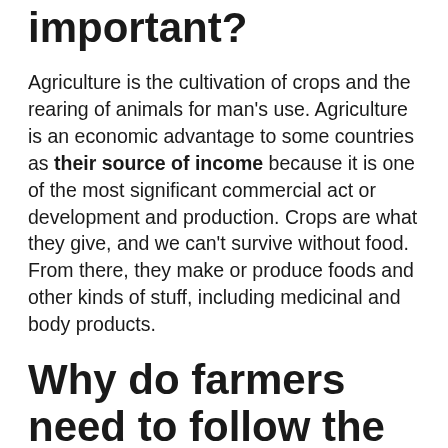Why is agriculture important?
Agriculture is the cultivation of crops and the rearing of animals for man's use. Agriculture is an economic advantage to some countries as their source of income because it is one of the most significant commercial act or development and production. Crops are what they give, and we can't survive without food. From there, they make or produce foods and other kinds of stuff, including medicinal and body products.
Why do farmers need to follow the zoning rules?